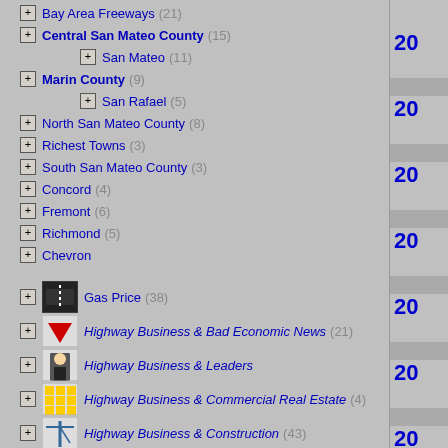Bay Area Freeways (21)
Central San Mateo County (15)
San Mateo (11)
Marin County (9)
San Rafael (5)
North San Mateo County (8)
Richest Towns (3)
South San Mateo County (3)
Concord (4)
Fremont (6)
Richmond (5)
Chevron
Gas Price (38)
Highway Business & Bad Economic News (21)
Highway Business & Leaders
Highway Business & Commercial Real Estate (4)
Highway Business & Construction (43)
Highway Business & Earnings (18)
Highway Business & Good Economic News (18)
Highway Business & Accident
Highway Business & Accident
Highway Business & High Tech